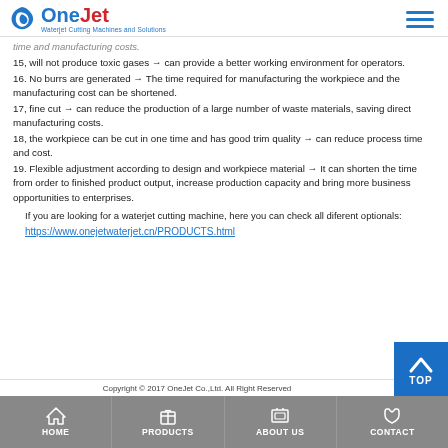OneJet - Waterjet Cutting Machines and Solutions
time and manufacturing costs.
15, will not produce toxic gases → can provide a better working environment for operators.
16. No burrs are generated → The time required for manufacturing the workpiece and the manufacturing cost can be shortened.
17, fine cut → can reduce the production of a large number of waste materials, saving direct manufacturing costs.
18, the workpiece can be cut in one time and has good trim quality → can reduce process time and cost.
19. Flexible adjustment according to design and workpiece material → It can shorten the time from order to finished product output, increase production capacity and bring more business opportunities to enterprises.
If you are looking for a waterjet cutting machine, here you can check all diferent optionals:
https://www.onejetwaterjet.cn/PRODUCTS.html
Copyright © 2017 OneJet Co.,Ltd. All Right Reserved
HOME | PRODUCTS | ABOUT US | CONTACT